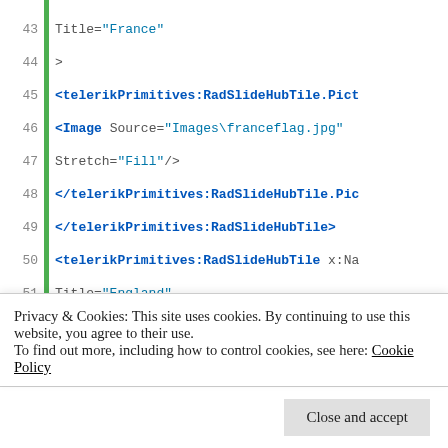Code snippet showing XML markup for telerikPrimitives:RadSlideHubTile elements with France, England, Germany tiles. Lines 43-63.
Privacy & Cookies: This site uses cookies. By continuing to use this website, you agree to their use. To find out more, including how to control cookies, see here: Cookie Policy
Close and accept